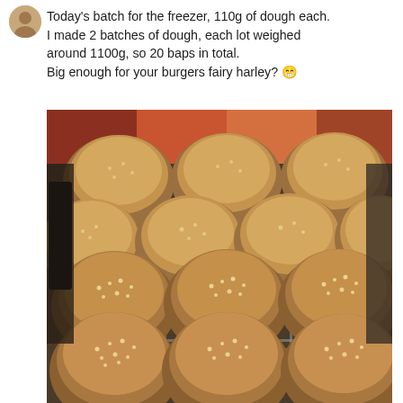[Figure (illustration): Small circular avatar icon at top left]
Today's batch for the freezer, 110g of dough each. I made 2 batches of dough, each lot weighed around 1100g, so 20 baps in total. Big enough for your burgers fairy harley? 😁
[Figure (photo): Photo of approximately 20 home-baked bread baps/rolls dusted with sesame seeds, arranged on wire cooling racks in rows, golden brown in color.]